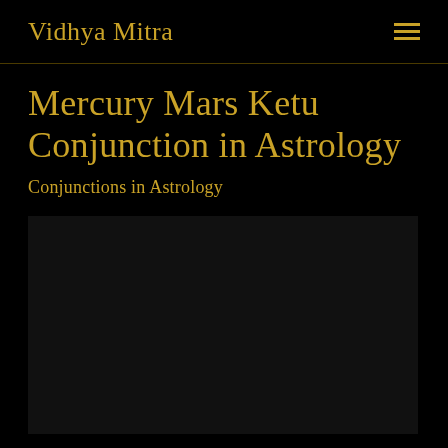Vidhya Mitra
Mercury Mars Ketu Conjunction in Astrology
Conjunctions in Astrology
[Figure (other): Dark video embed placeholder area for Mercury Mars Ketu Conjunction in Astrology content]